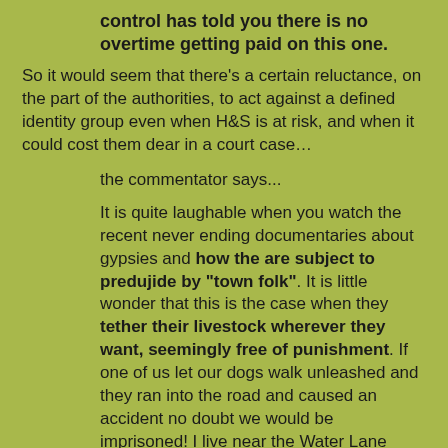control has told you there is no overtime getting paid on this one.
So it would seem that there's a certain reluctance, on the part of the authorities, to act against a defined identity group even when H&S is at risk, and when it could cost them dear in a court case…
the commentator says...
It is quite laughable when you watch the recent never ending documentaries about gypsies and how the are subject to predujide by "town folk". It is little wonder that this is the case when they tether their livestock wherever they want, seemingly free of punishment. If one of us let our dogs walk unleashed and they ran into the road and caused an accident no doubt we would be imprisoned! I live near the Water Lane camp and have to put up with their scrote children riding quad and trail bikes on council owned ground with no intervention.